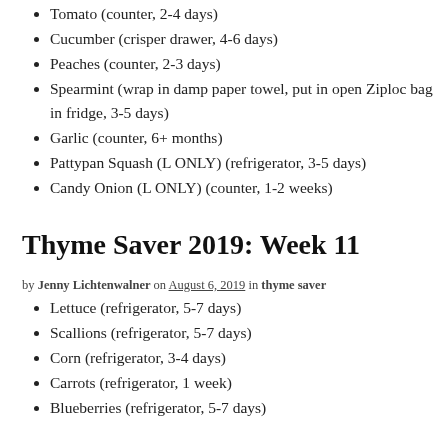Tomato (counter, 2-4 days)
Cucumber (crisper drawer, 4-6 days)
Peaches (counter, 2-3 days)
Spearmint (wrap in damp paper towel, put in open Ziploc bag in fridge, 3-5 days)
Garlic (counter, 6+ months)
Pattypan Squash (L ONLY) (refrigerator, 3-5 days)
Candy Onion (L ONLY) (counter, 1-2 weeks)
Thyme Saver 2019: Week 11
by Jenny Lichtenwalner on August 6, 2019 in thyme saver
Lettuce (refrigerator, 5-7 days)
Scallions (refrigerator, 5-7 days)
Corn (refrigerator, 3-4 days)
Carrots (refrigerator, 1 week)
Blueberries (refrigerator, 5-7 days)